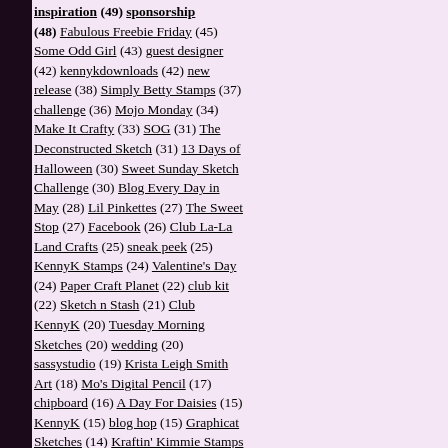inspiration (49) sponsorship (48) Fabulous Freebie Friday (45) Some Odd Girl (43) guest designer (42) kennykdownloads (42) new release (38) Simply Betty Stamps (37) challenge (36) Mojo Monday (34) Make It Crafty (33) SOG (31) The Deconstructed Sketch (31) 13 Days of Halloween (30) Sweet Sunday Sketch Challenge (30) Blog Every Day in May (28) Lil Pinkettes (27) The Sweet Stop (27) Facebook (26) Club La-La Land Crafts (25) sneak peek (25) KennyK Stamps (24) Valentine's Day (24) Paper Craft Planet (22) club kit (22) Sketch n Stash (21) Club KennyK (20) Tuesday Morning Sketches (20) wedding (20) sassystudio (19) Krista Leigh Smith Art (18) Mo's Digital Pencil (17) chipboard (16) A Day For Daisies (15) KennyK (15) blog hop (15) Graphicat Sketches (14) Kraftin' Kimmie Stamps (14) Mother's Day (14) Sunday Sketch and Stamp (14) Kraftin' Kimmie (13) Krista Smith (13) La-La-Land Crafts (13) Simply Challenged (13) baby (13) Kayne (12) MIC (12)
I'm not really sure how I'm going to top blogging in with a Bon Jovi concert and O'Lantern Spectacular, and I guess I'll figure it out somehow ahead of you too!
Markers used: Copics (YR0...
{hugs} Regan
POSTED BY REGAN AT 11:57
LABELS: BIRTHDAY, INKADIN... SKETCH WEDNESDAY
11 COMMENTS:
Heide said... What a beautiful Fa...